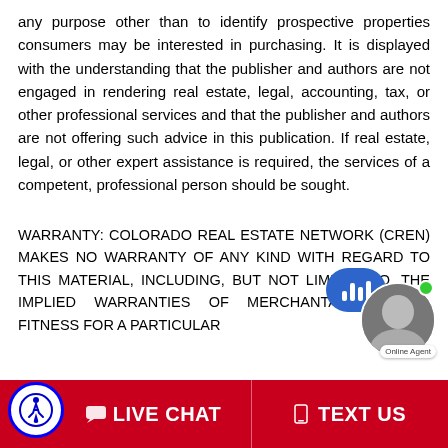any purpose other than to identify prospective properties consumers may be interested in purchasing. It is displayed with the understanding that the publisher and authors are not engaged in rendering real estate, legal, accounting, tax, or other professional services and that the publisher and authors are not offering such advice in this publication. If real estate, legal, or other expert assistance is required, the services of a competent, professional person should be sought.
WARRANTY: COLORADO REAL ESTATE NETWORK (CREN) MAKES NO WARRANTY OF ANY KIND WITH REGARD TO THIS MATERIAL, INCLUDING, BUT NOT LIMITED TO, THE IMPLIED WARRANTIES OF MERCHANTABILITY AND FITNESS FOR A PARTICULAR...
[Figure (other): Live chat widget with agent avatar, blue speech bubble with bar chart icon, green online indicator, and 'Online Agent' label]
[Figure (other): Red bottom bar with wheelchair accessibility icon (blue circle), LIVE CHAT button on left, TEXT US button on right]